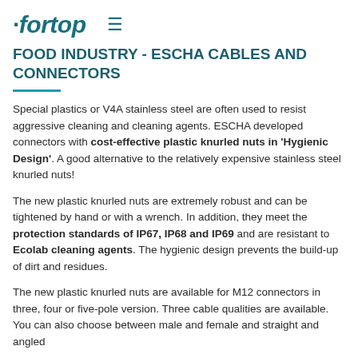fortop ≡
FOOD INDUSTRY - ESCHA CABLES AND CONNECTORS
Special plastics or V4A stainless steel are often used to resist aggressive cleaning and cleaning agents. ESCHA developed connectors with cost-effective plastic knurled nuts in 'Hygienic Design'. A good alternative to the relatively expensive stainless steel knurled nuts!
The new plastic knurled nuts are extremely robust and can be tightened by hand or with a wrench. In addition, they meet the protection standards of IP67, IP68 and IP69 and are resistant to Ecolab cleaning agents. The hygienic design prevents the build-up of dirt and residues.
The new plastic knurled nuts are available for M12 connectors in three, four or five-pole version. Three cable qualities are available. You can also choose between male and female and straight and angled